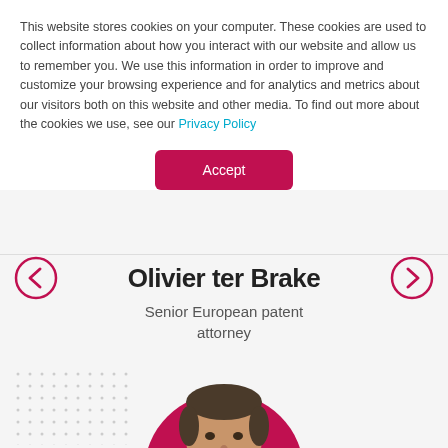This website stores cookies on your computer. These cookies are used to collect information about how you interact with our website and allow us to remember you. We use this information in order to improve and customize your browsing experience and for analytics and metrics about our visitors both on this website and other media. To find out more about the cookies we use, see our Privacy Policy
Accept
Olivier ter Brake
Senior European patent attorney
[Figure (photo): Headshot photo of Olivier ter Brake, a middle-aged man with short dark hair and beard, wearing a red shirt, against a red circular background]